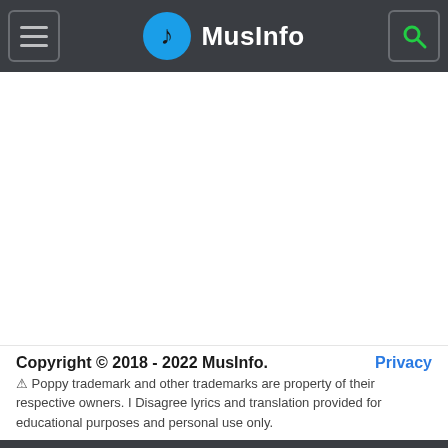MusInfo
Copyright © 2018 - 2022 MusInfo.  Privacy  ⚠ Poppy trademark and other trademarks are property of their respective owners. I Disagree lyrics and translation provided for educational purposes and personal use only.